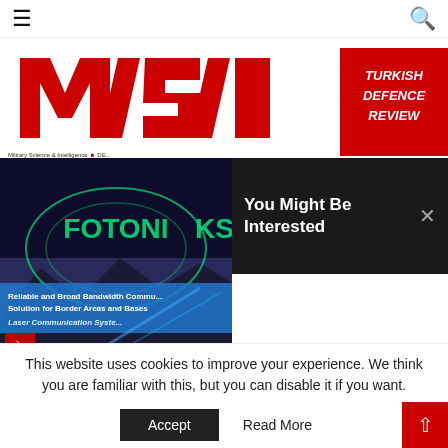≡  [search icon]
[Figure (logo): Turkish Defence Review (MSI) logo — bold red angular letters on white background with 'TURKISH DEFENCE REVIEW' text on red panel]
Military Science & Intelligence  ■  DE...
[Figure (photo): Magazine cover showing FOTONIKS Laser Communication System product — 'Reliable and Broad Bandwidth Communication Solution for Border Areas and Bases, Laser Communication System' with Turkish flag imagery and futuristic background]
You Might Be Interested
This website uses cookies to improve your experience. We think you are familiar with this, but you can disable it if you want.
Accept   Read More